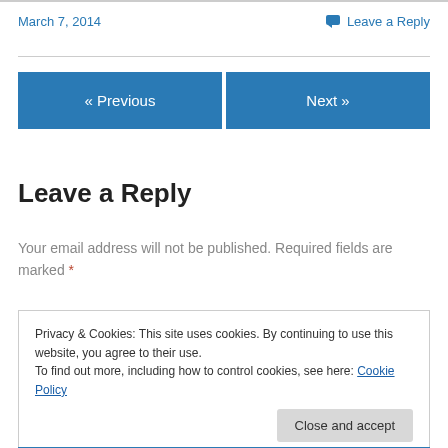March 7, 2014
Leave a Reply
[Figure (other): Navigation buttons: « Previous and Next »]
Leave a Reply
Your email address will not be published. Required fields are marked *
Privacy & Cookies: This site uses cookies. By continuing to use this website, you agree to their use. To find out more, including how to control cookies, see here: Cookie Policy
Close and accept